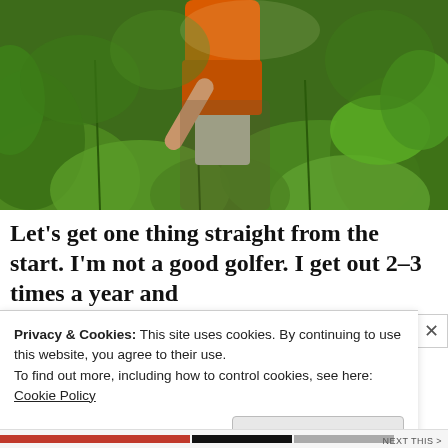[Figure (photo): A person wearing an orange shirt and grey shorts swinging a golf club or stick among dense green foliage and plants, shot from below/behind.]
Let's get one thing straight from the start. I'm not a good golfer. I get out 2-3 times a year and
Privacy & Cookies: This site uses cookies. By continuing to use this website, you agree to their use.
To find out more, including how to control cookies, see here:
Cookie Policy
Close and accept